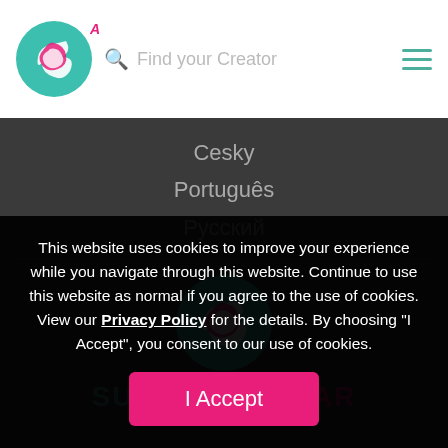SubscribeStar navigation bar with logo, search field 'Find your Creator', and hamburger menu
Cesky
Português
Русский
[Figure (logo): SubscribeStar circular logo in teal and pink, centered on dark background]
SUBSCRIBESTAR
This website uses cookies to improve your experience while you navigate through this website. Continue to use this website as normal if you agree to the use of cookies. View our Privacy Policy for the details. By choosing "I Accept", you consent to our use of cookies.
I Accept